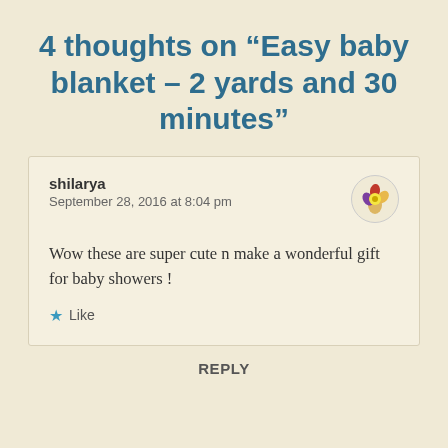4 thoughts on “Easy baby blanket – 2 yards and 30 minutes”
shilarya
September 28, 2016 at 8:04 pm
Wow these are super cute n make a wonderful gift for baby showers !
★ Like
REPLY